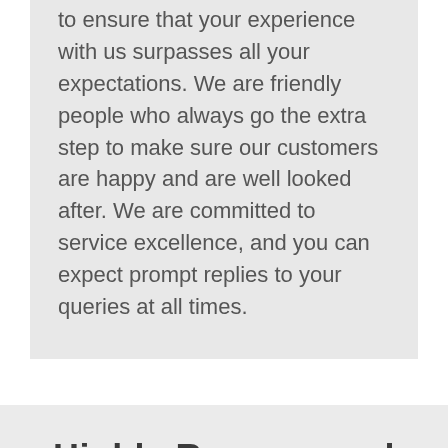to ensure that your experience with us surpasses all your expectations. We are friendly people who always go the extra step to make sure our customers are happy and are well looked after. We are committed to service excellence, and you can expect prompt replies to your queries at all times.
Highly Recommend
In the UK, Sussex Glazing is highly recommended as one of the best experts in bi-fold doors and glazing. We've created a bi-fold door that will